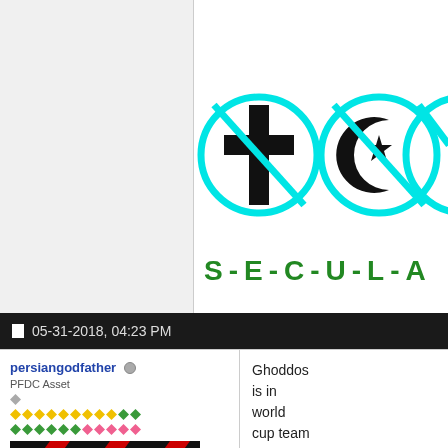[Figure (illustration): Secular symbols: crossed-out religious symbols (Christian cross, Islamic crescent and star) in cyan circles, with text S-E-C-U-L-A partially visible]
05-31-2018, 04:23 PM
persiangodfather
PFDC Asset
[Figure (illustration): User avatar with AC Milan style red and black diagonal stripes]
Ghoddos is in world cup team now